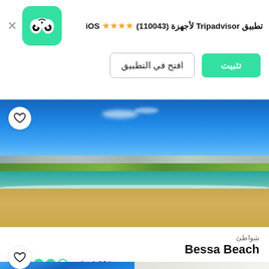تطبيق Tripadvisor لأجهزة (110043) ★★★★ iOS
تثبيت
افتح في التطبيق
[Figure (photo): Beach photo of Bessa Beach with blue sky, ocean waves, sandy shore, and city skyline in background]
شواطئ
Bessa Beach
●●●●○ 1,864 تعليق
رقم 9 من 129 أنشطة يمكن ممارستها في Joao Pessoa
[Figure (photo): Partial thumbnail images of another location at the bottom of the screen]